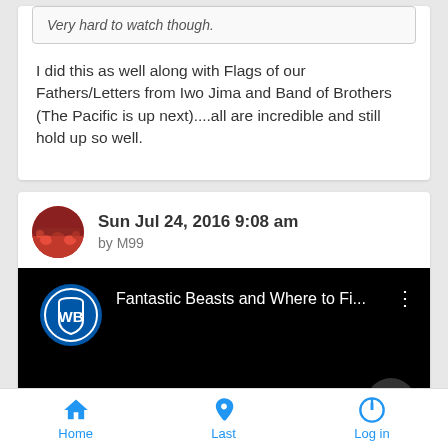Very hard to watch though.
I did this as well along with Flags of our Fathers/Letters from Iwo Jima and Band of Brothers (The Pacific is up next)....all are incredible and still hold up so well.
Sun Jul 24, 2016 9:08 am
by M99
[Figure (screenshot): YouTube video embed showing Warner Bros logo and title 'Fantastic Beasts and Where to Fi...' on black background with three-dot menu icon]
Home   Last   Log in